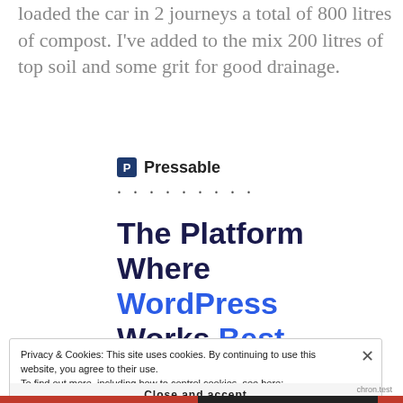loaded the car in 2 journeys a total of 800 litres of compost. I've added to the mix 200 litres of top soil and some grit for good drainage.
[Figure (logo): Pressable logo with blue P icon and dotted separator line]
The Platform Where WordPress Works Best
Privacy & Cookies: This site uses cookies. By continuing to use this website, you agree to their use.
To find out more, including how to control cookies, see here: Cookie Policy
Close and accept